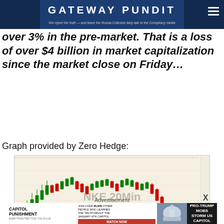GATEWAY PUNDIT – We report the truth — and leave the Russia-Collusion-fairy-tale to the conspiracy media
over 3% in the pre-market. That is a loss of over $4 billion in market capitalization since the market close on Friday…
Graph provided by Zero Hedge:
[Figure (continuous-plot): Stock price candlestick chart for NKE (Nike Inc Cl B) on a 20-minute interval, showing a rise followed by a sharp decline. Chart labeled NKE,20Min and Nike Inc Cl B.]
Advertisement
[Figure (screenshot): Advertisement for 'Capitol Punishment' documentary. Shows text: CAPITOL PUNISHMENT, JOIN OVER 65,000 OTHER PEOPLE WHO LEARNED THE TRUTH ABOUT THE JANUARY 6TH CAPITOL, WATCH NOW button, image of US Capitol, and news banner PRO-TRUMP MOBS STORM US CAPITOL with police imagery.]